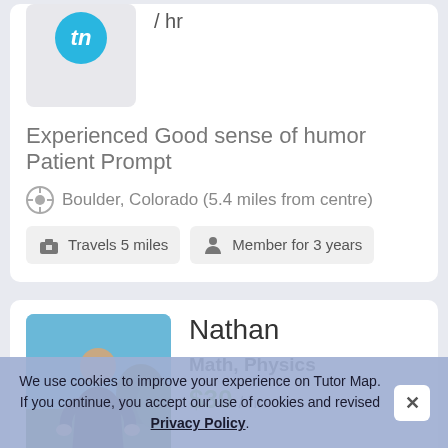/ hr
Experienced Good sense of humor Patient Prompt
Boulder, Colorado (5.4 miles from centre)
Travels 5 miles
Member for 3 years
Nathan
Math, Physics
$30 / hr
I have been a physics tutor for a year (both calc- based and algebra based) and the students I have worked with have all finished their courses enjoying physics. I tak...
We use cookies to improve your experience on Tutor Map. If you continue, you accept our use of cookies and revised Privacy Policy.